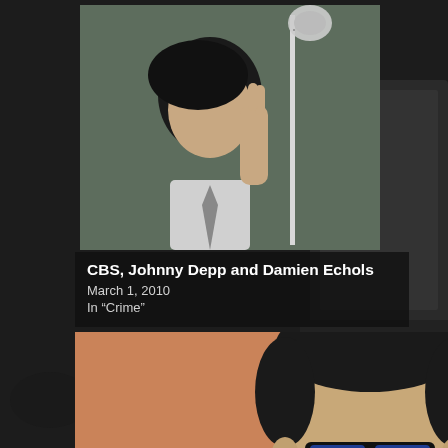[Figure (photo): Background image showing a dark laptop/computer setup in grayscale]
[Figure (photo): Top photo showing a young man with dark hair in a courtroom, raising his hand, with a microphone stand visible]
CBS, Johnny Depp and Damien Echols
March 1, 2010
In "Crime"
[Figure (photo): Bottom photo showing a man with shaved head and blue-tinted sunglasses against an orange/peach background]